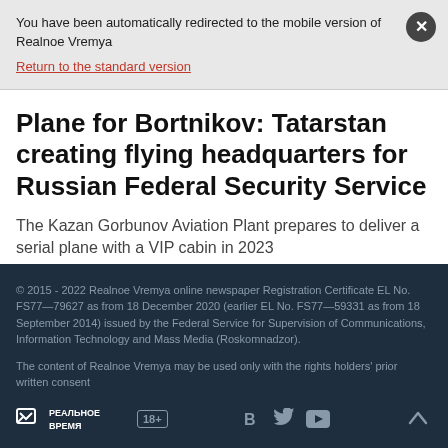You have been automatically redirected to the mobile version of Realnoe Vremya
Return to the standard version
Plane for Bortnikov: Tatarstan creating flying headquarters for Russian Federal Security Service
The Kazan Gorbunov Aviation Plant prepares to deliver a serial plane with a VIP cabin in 2023
© 2015 - 2022 Realnoe Vremya online newspaper Registration Certificate EL No. FS77—79627 as from 18 December 2020 (earlier EL No. FS77—59331 as from 18 September 2014) issued by the Federal Service for Supervision of Communications, Information Technology and Mass Media (Roskomnadzor).

The content of Realnoe Vremya may be used only with the rights holders' prior written consent